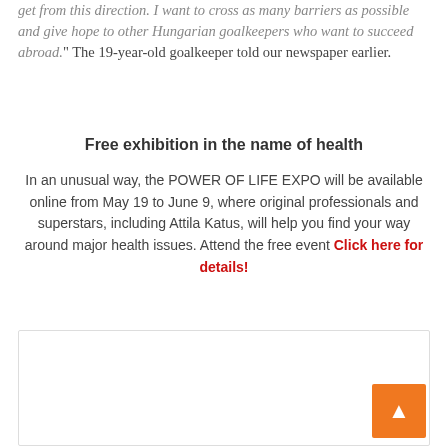get from this direction. I want to cross as many barriers as possible and give hope to other Hungarian goalkeepers who want to succeed abroad." The 19-year-old goalkeeper told our newspaper earlier.
Free exhibition in the name of health
In an unusual way, the POWER OF LIFE EXPO will be available online from May 19 to June 9, where original professionals and superstars, including Attila Katus, will help you find your way around major health issues. Attend the free event Click here for details!
[Figure (photo): Portrait photo of a young man with short dark hair and a beard, smiling, wearing a plaid shirt, with green foliage in the background]